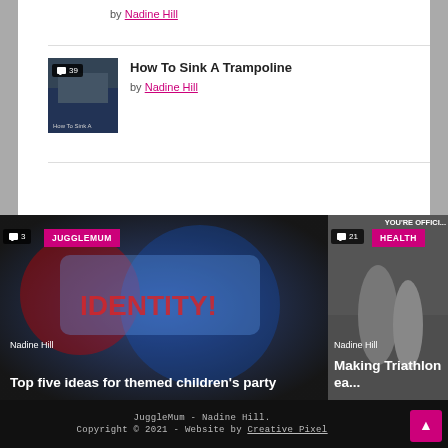by Nadine Hill
How To Sink A Trampoline
by Nadine Hill
[Figure (photo): Thumbnail of How To Sink A Trampoline article with comment badge showing 39]
[Figure (photo): Left photo: comic-book style 'Choose Your Identity' illustration for themed children's party article, with JUGGLEMUM category badge and comment count 3]
Nadine Hill
Top five ideas for themed children's party
[Figure (photo): Right photo: black and white runners photo for Making Triathlon article, with HEALTH category badge and comment count 21, YOU'RE OFFICI... text visible at top]
Nadine Hill
Making Triathlon ea...
JuggleMum - Nadine Hill. Copyright © 2021 - Website by Creative Pixel